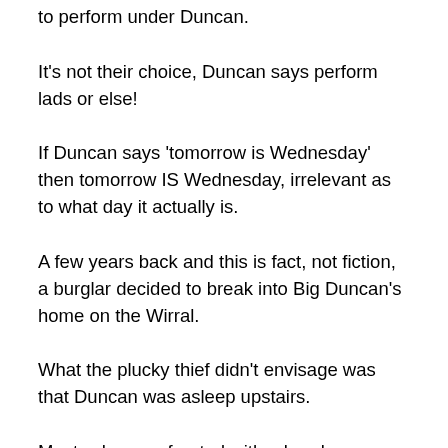to perform under Duncan.
It’s not their choice, Duncan says perform lads or else!
If Duncan says ‘tomorrow is Wednesday’ then tomorrow IS Wednesday, irrelevant as to what day it actually is.
A few years back and this is fact, not fiction, a burglar decided to break into Big Duncan’s home on the Wirral.
What the plucky thief didn’t envisage was that Duncan was asleep upstairs.
Most, when confronted with a burglar downstairs and the partner is digging in the